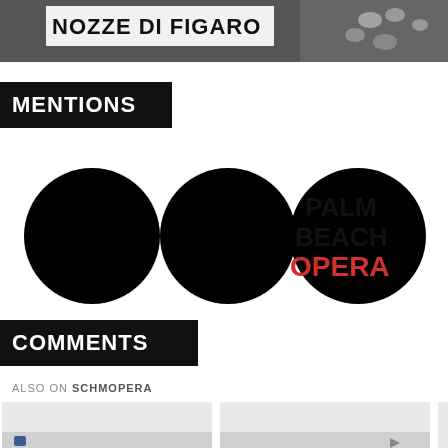[Figure (photo): Top banner image showing partial text 'NOZZE DI FIGARO' in white on dark overlay, with opera costume/dress visible on right side]
MENTIONS
[Figure (logo): Palm Beach Opera logo: three black circles arranged horizontally followed by text 'PALM BEACH OPERA' with OPERA in red]
COMMENTS
ALSO ON SCHMOPERA
[Figure (screenshot): Two partial article thumbnail cards shown side by side at bottom of page, with gray placeholder images and small Facebook/social icons visible at bottom]